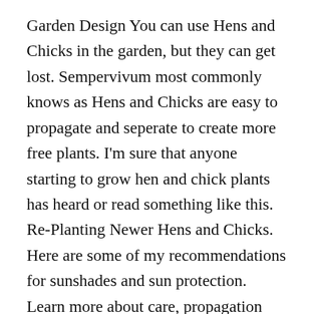Garden Design You can use Hens and Chicks in the garden, but they can get lost. Sempervivum most commonly knows as Hens and Chicks are easy to propagate and seperate to create more free plants. I'm sure that anyone starting to grow hen and chick plants has heard or read something like this. Re-Planting Newer Hens and Chicks. Here are some of my recommendations for sunshades and sun protection. Learn more about care, propagation and growing tips here. At a first glance, one might think that these plants are covered in spider webs. Cobweb Hens And Chicks is a fine choice for the garden, but it is also a good selection for planting in outdoor pots and containers. When grown indoors